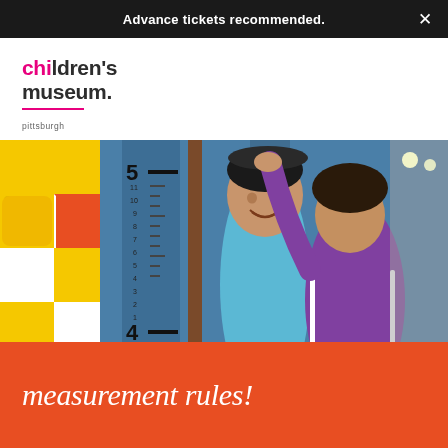Advance tickets recommended.
[Figure (logo): Children's Museum Pittsburgh logo with pink and dark text and pink underline]
[Figure (photo): Two children measuring height against a large ruler/measuring scale on a blue wall in a museum exhibit. One child in light blue shirt stands against the ruler while another in purple jacket places a flat object on their head to measure. Background shows a museum interior with various exhibits.]
measurement rules!